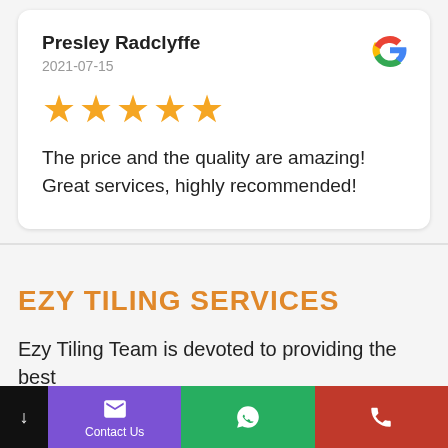Presley Radclyffe
2021-07-15
[Figure (other): Five gold star rating icons]
The price and the quality are amazing! Great services, highly recommended!
EZY TILING SERVICES
Ezy Tiling Team is devoted to providing the best
Contact Us | WhatsApp | Phone